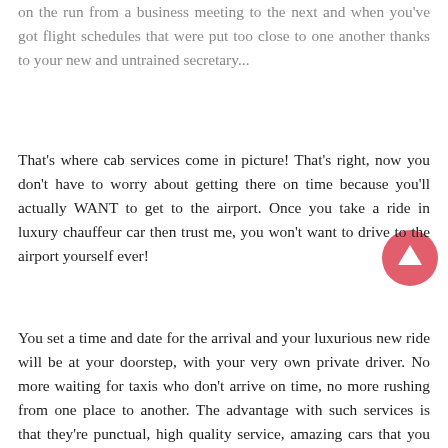on the run from a business meeting to the next and when you've got flight schedules that were put too close to one another thanks to your new and untrained secretary...
That's where cab services come in picture! That's right, now you don't have to worry about getting there on time because you'll actually WANT to get to the airport. Once you take a ride in luxury chauffeur car then trust me, you won't want to drive to the airport yourself ever!
You set a time and date for the arrival and your luxurious new ride will be at your doorstep, with your very own private driver. No more waiting for taxis who don't arrive on time, no more rushing from one place to another. The advantage with such services is that they're punctual, high quality service, amazing cars that you actually want to ride in and stress free.